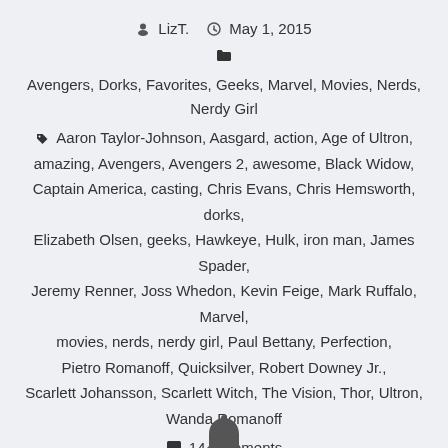LizT.   May 1, 2015
Avengers, Dorks, Favorites, Geeks, Marvel, Movies, Nerds, Nerdy Girl
Aaron Taylor-Johnson, Aasgard, action, Age of Ultron, amazing, Avengers, Avengers 2, awesome, Black Widow, Captain America, casting, Chris Evans, Chris Hemsworth, dorks, Elizabeth Olsen, geeks, Hawkeye, Hulk, iron man, James Spader, Jeremy Renner, Joss Whedon, Kevin Feige, Mark Ruffalo, Marvel, movies, nerds, nerdy girl, Paul Bettany, Perfection, Pietro Romanoff, Quicksilver, Robert Downey Jr., Scarlett Johansson, Scarlett Witch, The Vision, Thor, Ultron, Wanda Romanoff
14 Comments